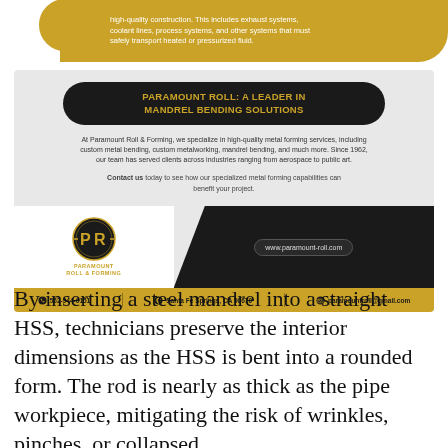[Figure (infographic): Partial gold speech bubble banner at top with text about high-quality construction, exhaust systems, coolant lines, process systems, and heated/pressurized fluid transport.]
[Figure (infographic): Paramount Roll & Forming advertisement card. Title: PARAMOUNT ROLL: A LEADER IN MANDREL BENDING SOLUTIONS. Body text about specializing in high-quality metal forming services. Contact us call to action. Logo with PR emblem, website www.paramount-roll.com, contact bar with phone 562-944-6151, address Santa Fe Springs CA 90670, email paramountroll@gmail.com.]
By inserting a steel mandrel into a straight HSS, technicians preserve the interior dimensions as the HSS is bent into a rounded form. The rod is nearly as thick as the pipe workpiece, mitigating the risk of wrinkles, pinches, or collapsed